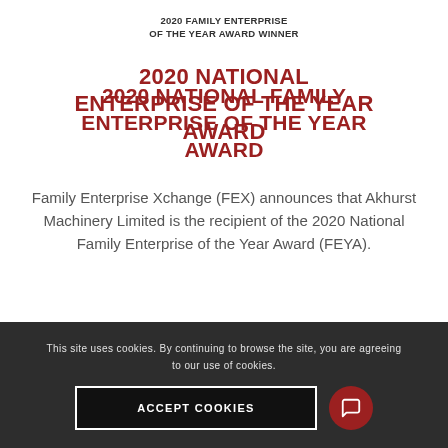2020 FAMILY ENTERPRISE OF THE YEAR AWARD WINNER
2020 NATIONAL FAMILY ENTERPRISE OF THE YEAR AWARD
Family Enterprise Xchange (FEX) announces that Akhurst Machinery Limited is the recipient of the 2020 National Family Enterprise of the Year Award (FEYA).
This site uses cookies. By continuing to browse the site, you are agreeing to our use of cookies.